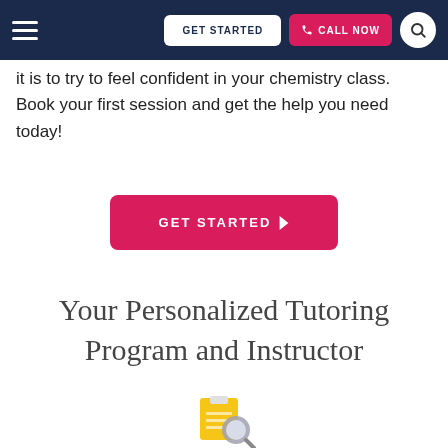GET STARTED | CALL NOW
it is to try to feel confident in your chemistry class. Book your first session and get the help you need today!
GET STARTED ▶
Your Personalized Tutoring Program and Instructor
[Figure (illustration): Clipboard with magnifying glass illustration at the bottom of the page]